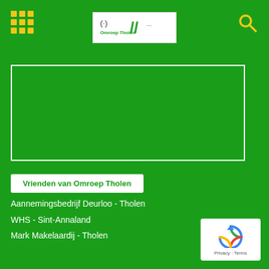[Figure (logo): Omroep Tholen logo with radio wave symbol and stylized slash marks on white background]
[Figure (other): Green video/media player area with white border]
Vrienden van Omroep Tholen
Aannemingsbedrijf Deurloo - Tholen
WHS - Sint-Annaland
Mark Makelaardij - Tholen
[Figure (other): Google reCAPTCHA widget with Privacy and Terms links]